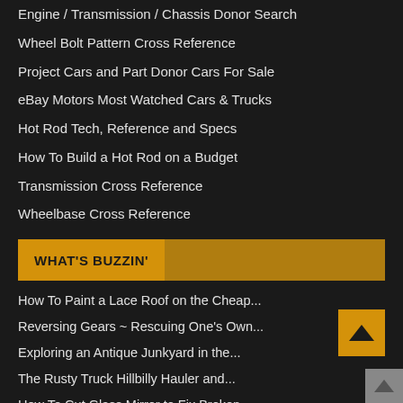Engine / Transmission / Chassis Donor Search
Wheel Bolt Pattern Cross Reference
Project Cars and Part Donor Cars For Sale
eBay Motors Most Watched Cars & Trucks
Hot Rod Tech, Reference and Specs
How To Build a Hot Rod on a Budget
Transmission Cross Reference
Wheelbase Cross Reference
WHAT'S BUZZIN'
How To Paint a Lace Roof on the Cheap...
Reversing Gears ~ Rescuing One's Own...
Exploring an Antique Junkyard in the...
The Rusty Truck Hillbilly Hauler and...
How To Cut Glass Mirror to Fix Broken...
Are You Killing The Hot Rod Community?...
Best 3-Ton Floor Jack? Snap On vs...
How To Be Prepared For A Dyno Session And...
Real World How-to Collector Car...